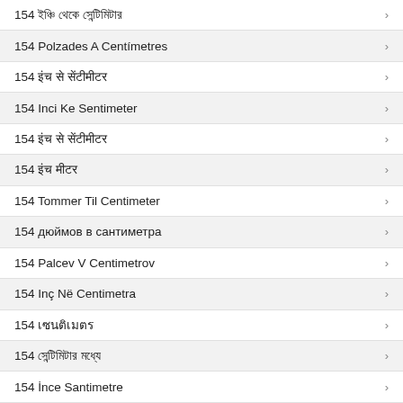154 ইঞ্চি থেকে সেন্টিমিটার
154 Polzades A Centímetres
154 इंच से सेंटीमीटर
154 Inci Ke Sentimeter
154 इंच से सेंटीमीटर
154 इंच मीटर
154 Tommer Til Centimeter
154 дюймов в сантиметра
154 Palcev V Centimetrov
154 Inç Në Centimetra
154 เซนติเมตร
154 সেন্টিমিটার মধ্যে
154 İnce Santimetre